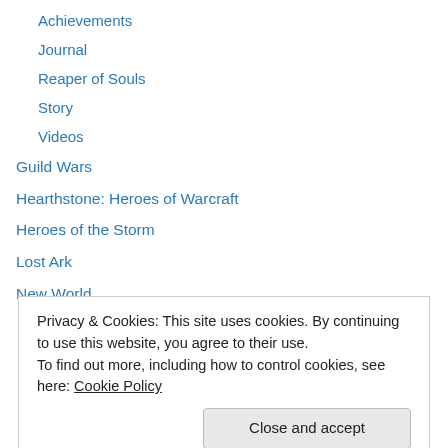Achievements
Journal
Reaper of Souls
Story
Videos
Guild Wars
Hearthstone: Heroes of Warcraft
Heroes of the Storm
Lost Ark
New World
achievements
Expeditions
New World Events
Privacy & Cookies: This site uses cookies. By continuing to use this website, you agree to their use. To find out more, including how to control cookies, see here: Cookie Policy
Uncategorized